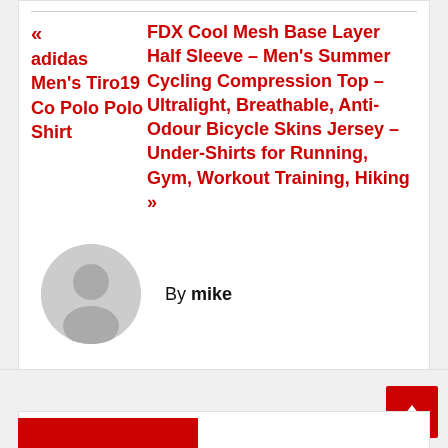« adidas Men's Tiro19 Co Polo Polo Shirt | FDX Cool Mesh Base Layer Half Sleeve – Men's Summer Cycling Compression Top – Ultralight, Breathable, Anti-Odour Bicycle Skins Jersey – Under-Shirts for Running, Gym, Workout Training, Hiking »
By mike